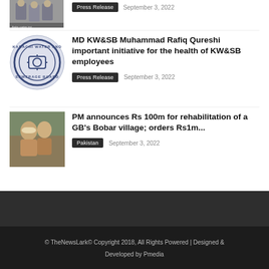[Figure (photo): Group of people photo (top, partially visible), with caption text below in script]
Press Release   September 3, 2022
[Figure (logo): Karachi Water and Sewerage Board circular logo]
MD KW&SB Muhammad Rafiq Qureshi important initiative for the health of KW&SB employees
Press Release   September 3, 2022
[Figure (photo): Photo of person in hat greeting people outdoors]
PM announces Rs 100m for rehabilitation of a GB's Bobar village; orders Rs1m...
Pakistan   September 3, 2022
© TheNewsLark© Copyright 2018, All Rights Powered | Designed & Developed by Pmedia